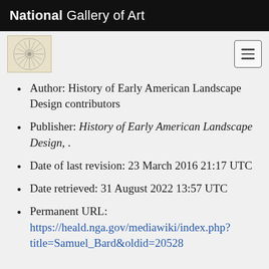National Gallery of Art
Author: History of Early American Landscape Design contributors
Publisher: History of Early American Landscape Design, .
Date of last revision: 23 March 2016 21:17 UTC
Date retrieved: 31 August 2022 13:57 UTC
Permanent URL: https://heald.nga.gov/mediawiki/index.php?title=Samuel_Bard&oldid=20528